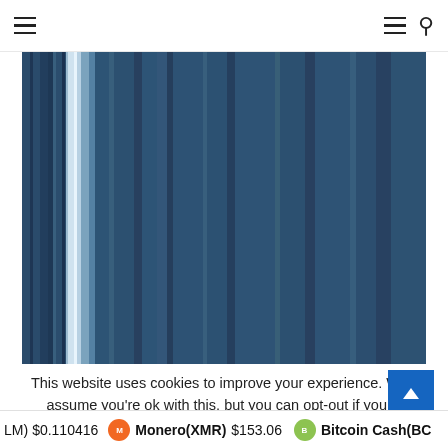Navigation header with hamburger menu and search icon
[Figure (illustration): Abstract blue striped visualization with vertical bands of varying shades of blue, resembling a data visualization or artistic rendering. One prominent lighter/white vertical stripe near the left portion of the image.]
This website uses cookies to improve your experience. We'll assume you're ok with this, but you can opt-out if you w
LM) $0.110416   Monero(XMR) $153.06   Bitcoin Cash(BC